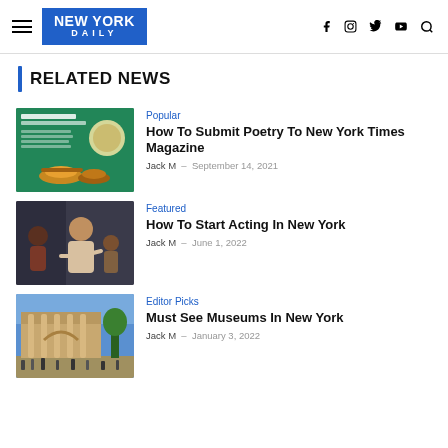NEW YORK DAILY
RELATED NEWS
[Figure (photo): Event poster with Jennifer Soong and Toogo Eisen-Martin, showing decorative bowls on a green background]
Popular
How To Submit Poetry To New York Times Magazine
Jack M – September 14, 2021
[Figure (photo): Photo of people having a discussion, woman in beige jacket speaking with others]
Featured
How To Start Acting In New York
Jack M – June 1, 2022
[Figure (photo): Photo of a large museum building exterior with columns and people walking outside]
Editor Picks
Must See Museums In New York
Jack M – January 3, 2022